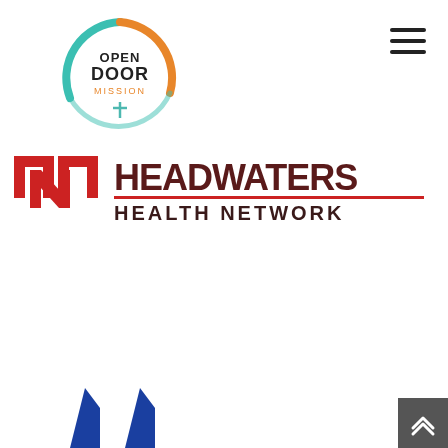[Figure (logo): Open Door Mission logo — circular logo with teal and orange arc, cross symbol, text OPEN DOOR MISSION]
[Figure (logo): Headwaters Health Network logo — red block N letters on left, HEADWATERS in dark red block letters with red underline, HEALTH NETWORK below in dark brown bold letters]
[Figure (other): Hamburger menu icon (three horizontal lines) in top right corner]
[Figure (other): Dark gray box with white double-chevron up arrow in bottom right corner]
[Figure (other): Partial blue triangular/arrow shapes visible at bottom of page]